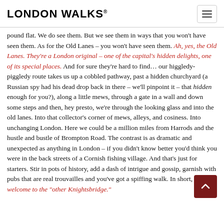LONDON WALKS®
pound flat. We do see them. But we see them in ways that you won't have seen them. As for the Old Lanes – you won't have seen them. Ah, yes, the Old Lanes. They're a London original – one of the capital's hidden delights, one of its special places. And for sure they're hard to find… our higgledy-piggledy route takes us up a cobbled pathway, past a hidden churchyard (a Russian spy had his dead drop back in there – we'll pinpoint it – that hidden enough for you?), along a little mews, through a gate in a wall and down some steps and then, hey presto, we're through the looking glass and into the old lanes. Into that collector's corner of mews, alleys, and cosiness. Into unchanging London. Here we could be a million miles from Harrods and the hustle and bustle of Brompton Road. The contrast is as dramatic and unexpected as anything in London – if you didn't know better you'd think you were in the back streets of a Cornish fishing village. And that's just for starters. Stir in pots of history, add a dash of intrigue and gossip, garnish with pubs that are real trouvailles and you've got a spiffing walk. In short, welcome to the "other Knightsbridge."